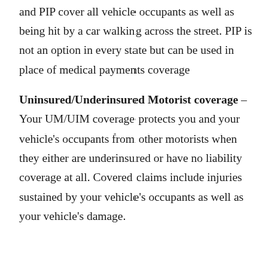and PIP cover all vehicle occupants as well as being hit by a car walking across the street. PIP is not an option in every state but can be used in place of medical payments coverage
Uninsured/Underinsured Motorist coverage – Your UM/UIM coverage protects you and your vehicle's occupants from other motorists when they either are underinsured or have no liability coverage at all. Covered claims include injuries sustained by your vehicle's occupants as well as your vehicle's damage.